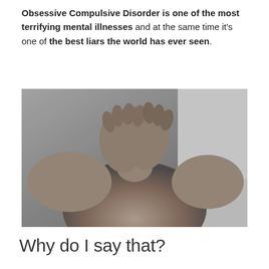Obsessive Compulsive Disorder is one of the most terrifying mental illnesses and at the same time it's one of the best liars the world has ever seen.
[Figure (photo): Black and white photograph of a shirtless person covering their face with both hands, appearing distressed.]
Why do I say that?